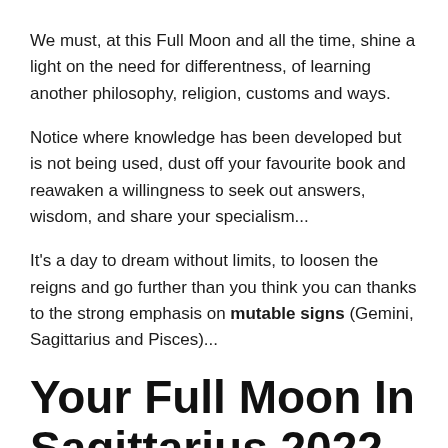We must, at this Full Moon and all the time, shine a light on the need for differentness, of learning another philosophy, religion, customs and ways.
Notice where knowledge has been developed but is not being used, dust off your favourite book and reawaken a willingness to seek out answers, wisdom, and share your specialism...
It's a day to dream without limits, to loosen the reigns and go further than you think you can thanks to the strong emphasis on mutable signs (Gemini, Sagittarius and Pisces)...
Your Full Moon In Sagittarius 2022 Horoscopes...